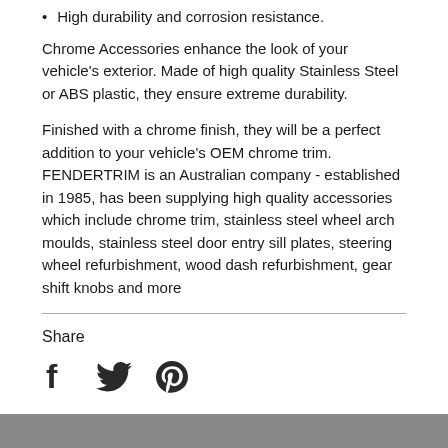High durability and corrosion resistance.
Chrome Accessories enhance the look of your vehicle's exterior. Made of high quality Stainless Steel or ABS plastic, they ensure extreme durability.
Finished with a chrome finish, they will be a perfect addition to your vehicle's OEM chrome trim. FENDERTRIM is an Australian company - established in 1985, has been supplying high quality accessories which include chrome trim, stainless steel wheel arch moulds, stainless steel door entry sill plates, steering wheel refurbishment, wood dash refurbishment, gear shift knobs and more
Share
[Figure (other): Social media share icons: Facebook, Twitter, Pinterest]